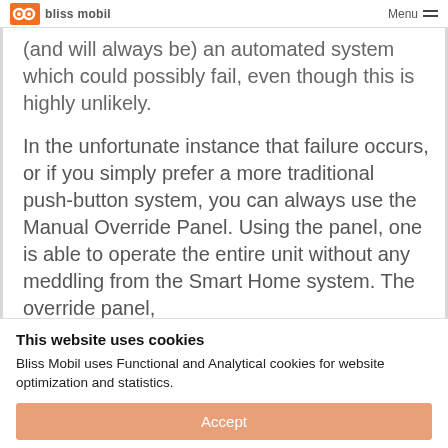bliss mobil   Menu
(and will always be) an automated system which could possibly fail, even though this is highly unlikely.
In the unfortunate instance that failure occurs, or if you simply prefer a more traditional push-button system, you can always use the Manual Override Panel. Using the panel, one is able to operate the entire unit without any meddling from the Smart Home system. The override panel,
This website uses cookies
Bliss Mobil uses Functional and Analytical cookies for website optimization and statistics.
Accept